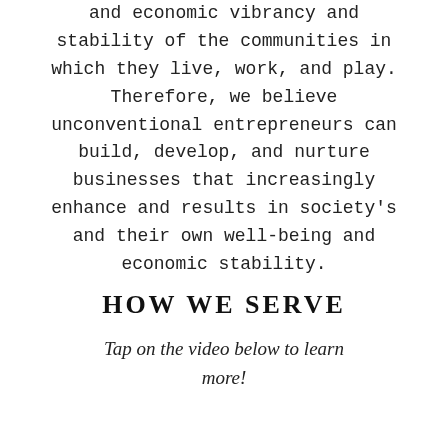and economic vibrancy and stability of the communities in which they live, work, and play. Therefore, we believe unconventional entrepreneurs can build, develop, and nurture businesses that increasingly enhance and results in society's and their own well-being and economic stability.
HOW WE SERVE
Tap on the video below to learn more!